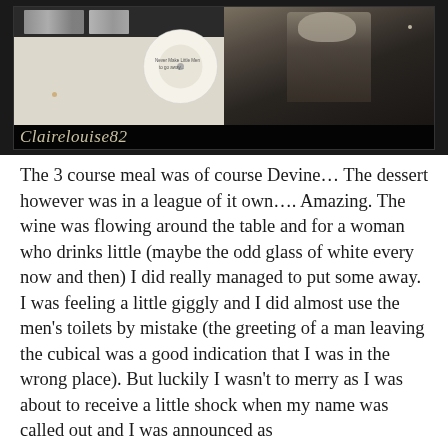[Figure (photo): A composite image with a dark border. Left half shows a record/vinyl sleeve with a black-and-white photo strip at top and a white vinyl disc/label. Right half shows a black-and-white photo of a person standing. Below the images is a cursive watermark text reading 'Clairelouise82'.]
The 3 course meal was of course Devine… The dessert however was in a league of it own…. Amazing. The wine was flowing around the table and for a woman who drinks little (maybe the odd glass of white every now and then) I did really managed to put some away. I was feeling a little giggly and I did almost use the men's toilets by mistake (the greeting of a man leaving the cubical was a good indication that I was in the wrong place). But luckily I wasn't to merry as I was about to receive a little shock when my name was called out and I was announced as